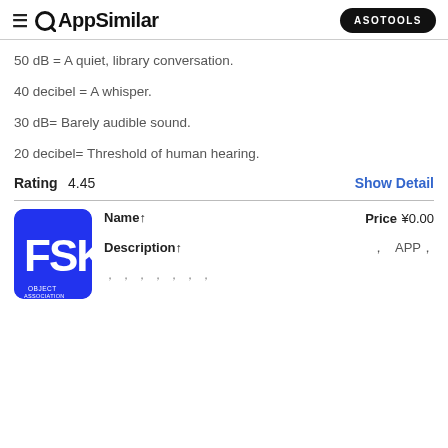AppSimilar | ASOTOOLS
50 dB = A quiet, library conversation.
40 decibel = A whisper.
30 dB= Barely audible sound.
20 decibel= Threshold of human hearing.
Rating  4.45    Show Detail
Name↑   Price  ¥0.00
Description↑    ,    APP,
,  ,  ,  ,  ,  ,